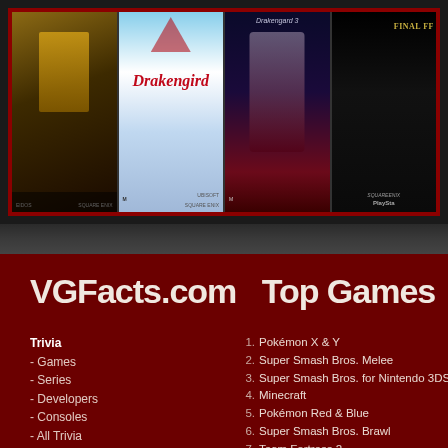[Figure (photo): Top section showing four video game covers: an unnamed dark-themed game, Drakengard, Drakengard 3, and Final Fantasy. Dark background with red border frame.]
VGFacts.com   Top Games
Trivia
- Games
- Series
- Developers
- Consoles
- All Trivia
Videos
- Easter Egg Hunting
- Leftovers
- Region Locked
- DidYouKnowGaming
- Other
About Us
- Submission Guidelines
- FAQ
- Site Stats
- Contact
Forums
1. Pokémon X & Y
2. Super Smash Bros. Melee
3. Super Smash Bros. for Nintendo 3DS and
4. Minecraft
5. Pokémon Red & Blue
6. Super Smash Bros. Brawl
7. Team Fortress 2
8. Grand Theft Auto V
9. Grand Theft Auto IV
10. The Legend of Zelda: Majora's Mask
11. The Legend of Zelda: Ocarina of Time
12. The Elder Scrolls V: Skyrim
13. Borderlands 2
14. GoldenEye 007
15. BioShock Infinite
16. Super Mario Sunshine
17. Batman: Arkham City
18. The Legend of Zelda: The Wind Waker